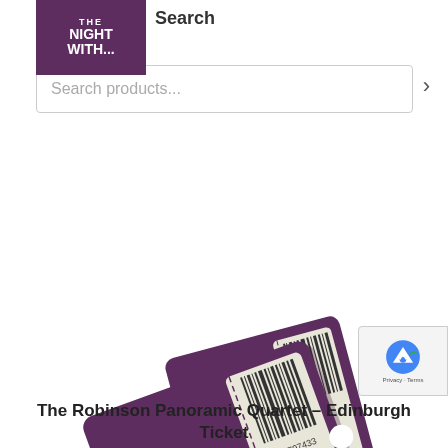THE NIGHT WITH... Search
Search products...
[Figure (illustration): Two overlapping event tickets at an angle, dark purple/maroon color with cream/off-white text areas. Each ticket shows a barcode, the number 6797433, stars, the word TICKET in large vertical text, and ADMIT ONE. The tickets are illustrated in a stylized graphic design style.]
The Robinson Panoramic Quartet – Edinburgh Ticket